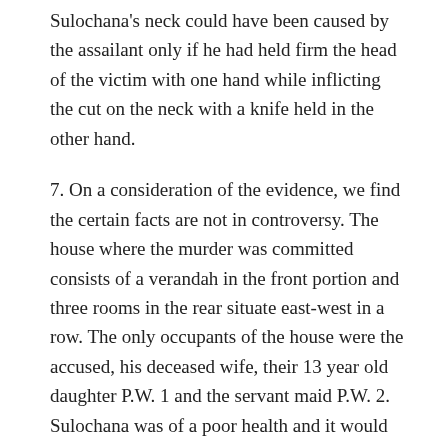Sulochana's neck could have been caused by the assailant only if he had held firm the head of the victim with one hand while inflicting the cut on the neck with a knife held in the other hand.
7. On a consideration of the evidence, we find the certain facts are not in controversy. The house where the murder was committed consists of a verandah in the front portion and three rooms in the rear situate east-west in a row. The only occupants of the house were the accused, his deceased wife, their 13 year old daughter P.W. 1 and the servant maid P.W. 2. Sulochana was of a poor health and it would appear that she was also subjected to epileptic fits. On account of Sulochana's poor health, P.W. 2 aged 18 years and belonging to a poor family, had been engaged to look after her and assist her in running the